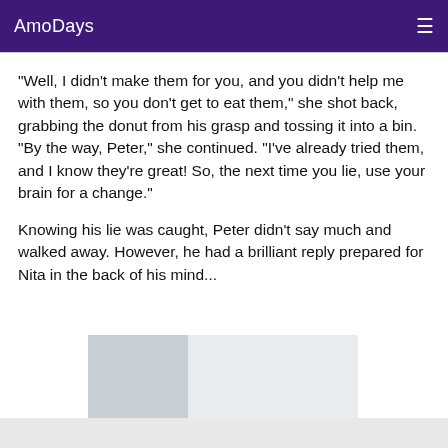AmoDays
"Well, I didn't make them for you, and you didn't help me with them, so you don't get to eat them," she shot back, grabbing the donut from his grasp and tossing it into a bin. "By the way, Peter," she continued. "I've already tried them, and I know they're great! So, the next time you lie, use your brain for a change."
Knowing his lie was caught, Peter didn't say much and walked away. However, he had a brilliant reply prepared for Nita in the back of his mind...
[Figure (photo): Partial photo of what appears to be a person in light/white clothing, partially visible at the bottom of the page]